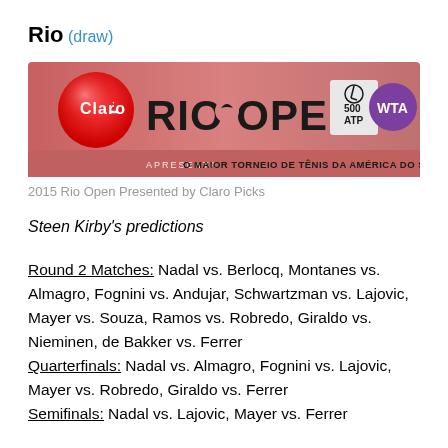Rio (draw)
[Figure (logo): Rio Open 2015 banner featuring Claro logo, RIO OPEN text, ATP 500 and WTA logos, with tagline O MAIOR TORNEIO DE TÊNIS DA AMÉRICA DO SUL]
2015 Rio Open Presented by Claro Picks
Steen Kirby's predictions
Round 2 Matches: Nadal vs. Berlocq, Montanes vs. Almagro, Fognini vs. Andujar, Schwartzman vs. Lajovic, Mayer vs. Souza, Ramos vs. Robredo, Giraldo vs. Nieminen, de Bakker vs. Ferrer
Quarterfinals: Nadal vs. Almagro, Fognini vs. Lajovic, Mayer vs. Robredo, Giraldo vs. Ferrer
Semifinals: Nadal vs. Lajovic, Mayer vs. Ferrer